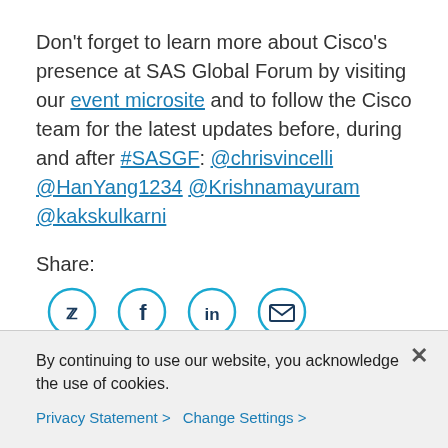Don't forget to learn more about Cisco's presence at SAS Global Forum by visiting our event microsite and to follow the Cisco team for the latest updates before, during and after #SASGF: @chrisvincelli @HanYang1234 @Krishnamayuram @kakskulkarni
[Figure (infographic): Share section with label 'Share:' and four circular social media icons: Twitter (bird), Facebook (f), LinkedIn (in), Email (envelope)]
By continuing to use our website, you acknowledge the use of cookies.
Privacy Statement > Change Settings >